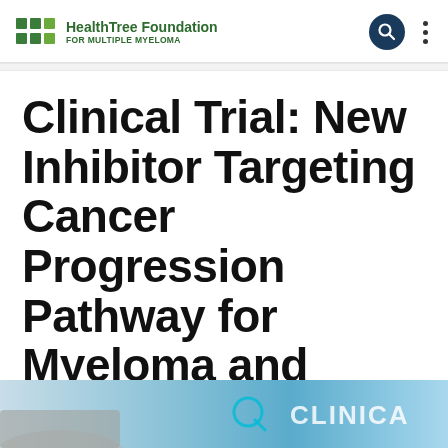HealthTree Foundation FOR MULTIPLE MYELOMA
Clinical Trial: New Inhibitor Targeting Cancer Progression Pathway for Myeloma and Lymphoma
POSTED: OCT 19, 2017
[Figure (photo): A hand touching a digital clinical trial interface with cyan/blue teal background, partially showing text 'CLINICAL']